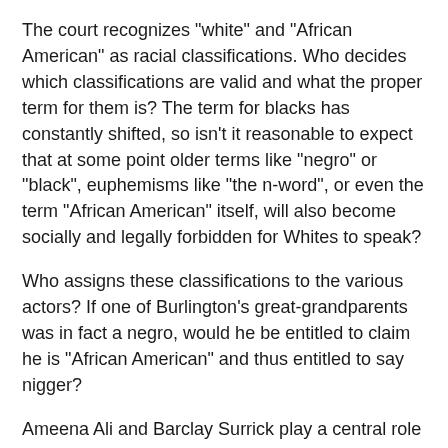The court recognizes "white" and "African American" as racial classifications. Who decides which classifications are valid and what the proper term for them is? The term for blacks has constantly shifted, so isn't it reasonable to expect that at some point older terms like "negro" or "black", euphemisms like "the n-word", or even the term "African American" itself, will also become socially and legally forbidden for Whites to speak?
Who assigns these classifications to the various actors? If one of Burlington's great-grandparents was in fact a negro, would he be entitled to claim he is "African American" and thus entitled to say nigger?
Ameena Ali and Barclay Surrick play a central role in this case. Why are their racial classifications not provided?
Does the law agree with Metlin's implicit assumption that jews are a "protected class"? Are jews thus also entitled not to suffer hearing certain words from lesser Whites?
Isn't this discrimination bringing these charges for...